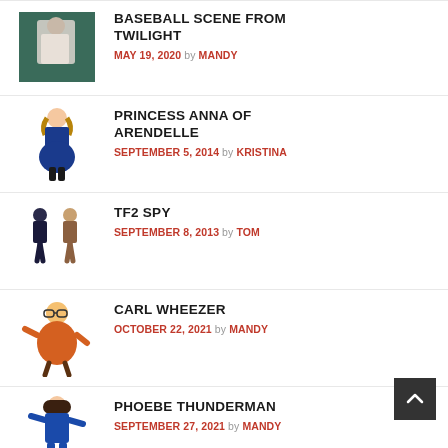BASEBALL SCENE FROM TWILIGHT — MAY 19, 2020 by MANDY
PRINCESS ANNA OF ARENDELLE — SEPTEMBER 5, 2014 by KRISTINA
TF2 SPY — SEPTEMBER 8, 2013 by TOM
CARL WHEEZER — OCTOBER 22, 2021 by MANDY
PHOEBE THUNDERMAN — SEPTEMBER 27, 2021 by MANDY
LORD FARQUAAD FROM SHREK — SEPTEMBER 30, 2020 by MANDY